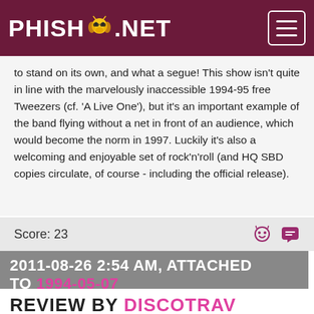PHISH.NET
to stand on its own, and what a segue! This show isn't quite in line with the marvelously inaccessible 1994-95 free Tweezers (cf. 'A Live One'), but it's an important example of the band flying without a net in front of an audience, which would become the norm in 1997. Luckily it's also a welcoming and enjoyable set of rock'n'roll (and HQ SBD copies circulate, of course - including the official release).
Score: 23
2011-08-26 2:54 AM, ATTACHED TO 1994-05-07
REVIEW BY DISCOTRAV
This was, honest to Jah;-) my first show. I had been listening to Phish for 2 or 3 years but the twist: Friends, I have a problem is